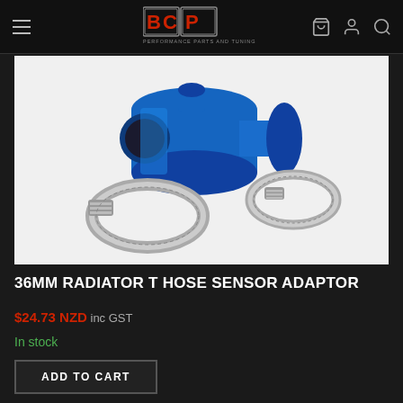[Figure (logo): BCP Performance Parts and Tuning logo with red and grey lettering on dark background]
[Figure (photo): Blue anodized aluminum 36mm radiator T hose sensor adaptor fitting with two stainless steel hose clamps on white background]
36MM RADIATOR T HOSE SENSOR ADAPTOR
$24.73 NZD inc GST
In stock